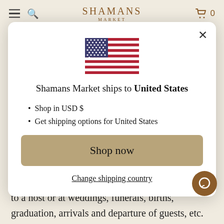SHAMANS MARKET
[Figure (illustration): US flag emoji/icon centered in modal]
Shamans Market ships to United States
Shop in USD $
Get shipping options for United States
Shop now
Change shipping country
to a host or at weddings, funerals, births, graduation, arrivals and departure of guests, etc.